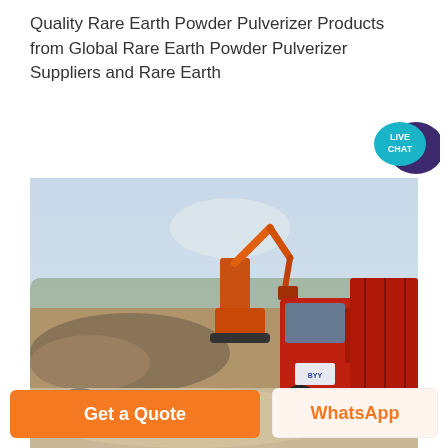Quality Rare Earth Powder Pulverizer Products from Global Rare Earth Powder Pulverizer Suppliers and Rare Earth
[Figure (photo): Outdoor mining site with a red dump truck on the right and an orange excavator in the background, amid piles of rocks and gravel under a hazy sky.]
Get a Quote
WhatsApp